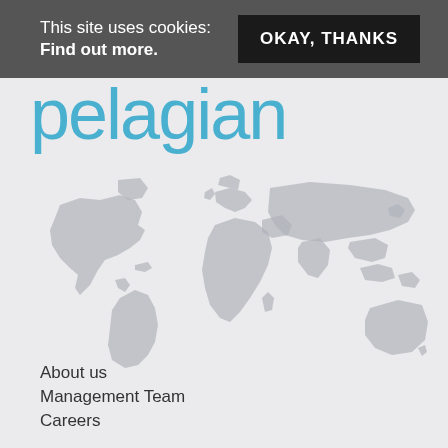This site uses cookies: Find out more.
OKAY, THANKS
pelagian
[Figure (map): World map shown in light grey silhouette style on a light background]
About us
Management Team
Careers
News
Contact Us